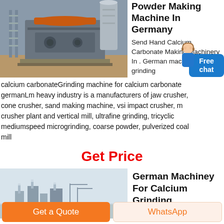[Figure (photo): Industrial powder making machine / crusher equipment in a factory setting]
Powder Making Machine In Germany
Send Hand Calcium Carbonate Making Machinery In . German machinery for grinding calcium carbonateGrinding machine for calcium carbonate germanLm heavy industry is a manufacturers of jaw crusher, cone crusher, sand making machine, vsi impact crusher, m crusher plant and vertical mill, ultrafine grinding, tricyclic mediumspeed microgrinding, coarse powder, pulverized coal mill
Get Price
[Figure (photo): Factory or industrial facility in misty/hazy outdoor conditions]
German Machiney For Calcium Grinding